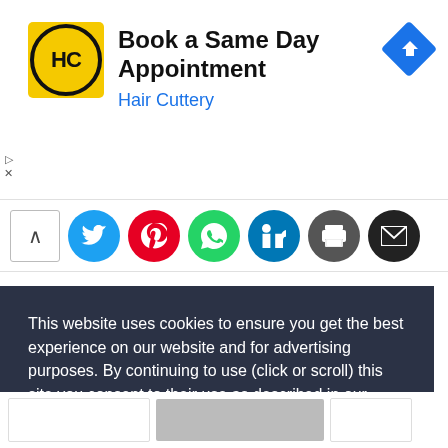[Figure (screenshot): Hair Cuttery advertisement banner: yellow logo with HC letters in circle, headline 'Book a Same Day Appointment', subtext 'Hair Cuttery' in blue, blue diamond navigation arrow on right. Ad controls (play/close) on left.]
[Figure (screenshot): Social media sharing bar with up-arrow button and circular share icons: Twitter (blue), Pinterest (red), WhatsApp (green), LinkedIn (blue), Print (dark gray), Email (black)]
This website uses cookies to ensure you get the best experience on our website and for advertising purposes. By continuing to use (click or scroll) this site you consent to their use as described in our Privacy Policy
Decline
Allow